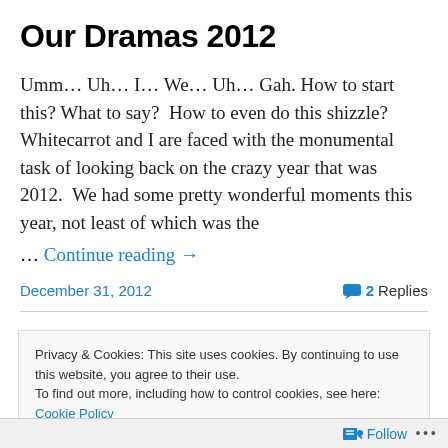Our Dramas 2012
Umm… Uh… I… We… Uh… Gah. How to start this? What to say?  How to even do this shizzle? Whitecarrot and I are faced with the monumental task of looking back on the crazy year that was 2012.  We had some pretty wonderful moments this year, not least of which was the
… Continue reading →
December 31, 2012    2 Replies
Privacy & Cookies: This site uses cookies. By continuing to use this website, you agree to their use.
To find out more, including how to control cookies, see here: Cookie Policy
Close and accept
Follow ...